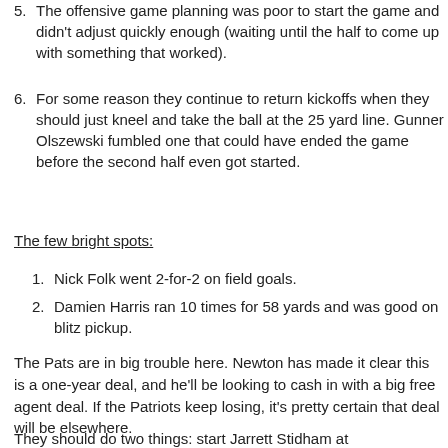5. The offensive game planning was poor to start the game and didn't adjust quickly enough (waiting until the half to come up with something that worked).
6. For some reason they continue to return kickoffs when they should just kneel and take the ball at the 25 yard line. Gunner Olszewski fumbled one that could have ended the game before the second half even got started.
The few bright spots:
1. Nick Folk went 2-for-2 on field goals.
2. Damien Harris ran 10 times for 58 yards and was good on blitz pickup.
The Pats are in big trouble here. Newton has made it clear this is a one-year deal, and he'll be looking to cash in with a big free agent deal. If the Patriots keep losing, it's pretty certain that deal will be elsewhere.
They should do two things: start Jarrett Stidham at quarterback and consider trading a player or two before the